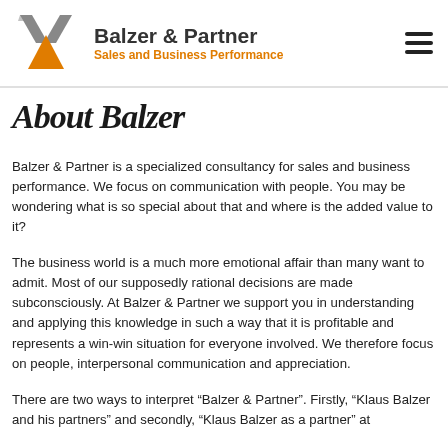Balzer & Partner — Sales and Business Performance
About Balzer
Balzer & Partner is a specialized consultancy for sales and business performance. We focus on communication with people. You may be wondering what is so special about that and where is the added value to it?
The business world is a much more emotional affair than many want to admit. Most of our supposedly rational decisions are made subconsciously. At Balzer & Partner we support you in understanding and applying this knowledge in such a way that it is profitable and represents a win-win situation for everyone involved. We therefore focus on people, interpersonal communication and appreciation.
There are two ways to interpret "Balzer & Partner". Firstly, "Klaus Balzer and his partners" and secondly, "Klaus Balzer as a partner" at